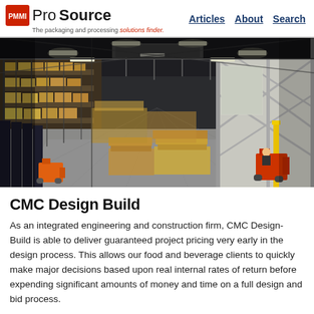PMMI ProSource — The packaging and processing solutions finder. | Articles | About | Search
[Figure (photo): Interior of a large industrial warehouse with high ceilings, rows of shelving stacked with palletized goods on the left, bright overhead LED strip lighting, structural steel columns and cross-braces, and a forklift operating in the background on the right side.]
CMC Design Build
As an integrated engineering and construction firm, CMC Design-Build is able to deliver guaranteed project pricing very early in the design process. This allows our food and beverage clients to quickly make major decisions based upon real internal rates of return before expending significant amounts of money and time on a full design and bid process.